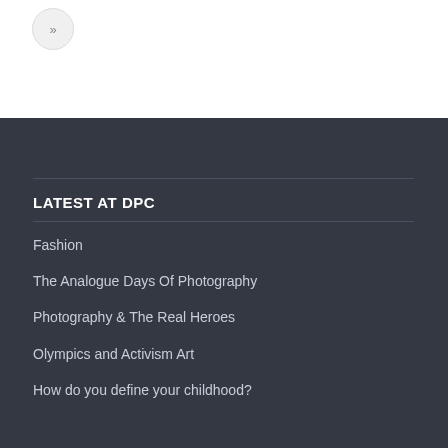[Figure (other): Small circular button with double-arrow >> symbol in the top-left corner]
LATEST AT DPC
Fashion
The Analogue Days Of Photography
Photography & The Real Heroes
Olympics and Activism Art
How do you define your childhood?